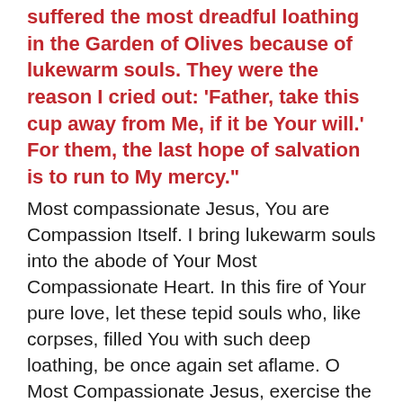suffered the most dreadful loathing in the Garden of Olives because of lukewarm souls. They were the reason I cried out: 'Father, take this cup away from Me, if it be Your will.' For them, the last hope of salvation is to run to My mercy."
Most compassionate Jesus, You are Compassion Itself. I bring lukewarm souls into the abode of Your Most Compassionate Heart. In this fire of Your pure love, let these tepid souls who, like corpses, filled You with such deep loathing, be once again set aflame. O Most Compassionate Jesus, exercise the omnipotence of Your mercy and draw them into the very ardor of Your love, and bestow upon them the gift of holy love, for nothing